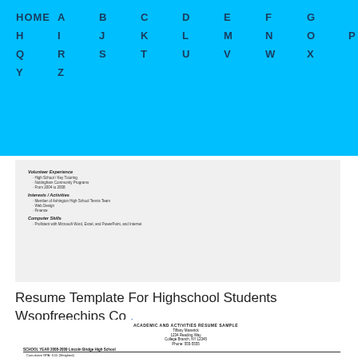HOME A B C D E F G H I J K L M N O P Q R S T U V W X Y Z
[Figure (screenshot): Partial view of a high school student resume template showing sections: Volunteer Experience, Interests / Activities, Computer Skills]
Resume Template For Highschool Students Wsopfreechips Co .
[Figure (screenshot): Academic and Activities Resume Sample for a student named Tiffany Maverick, 1234 Reading Way, College Station, NY 12345, Phone: 555-5555. Includes School Year 2008-2009 Lincoln Bridge High School, Cumulative GPA 3.55 (Weighted), Curriculum Listing section with items.]